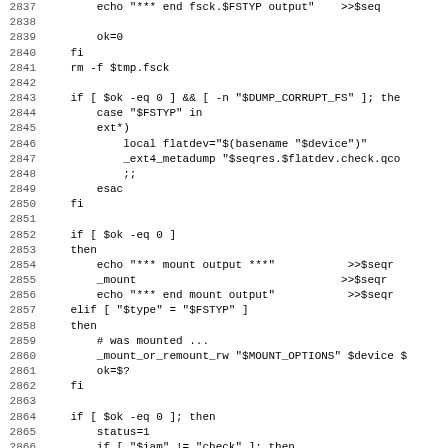[Figure (screenshot): Shell script source code listing with line numbers 2837-2868, showing bash script logic for fsck, mount operations, and filesystem checks]